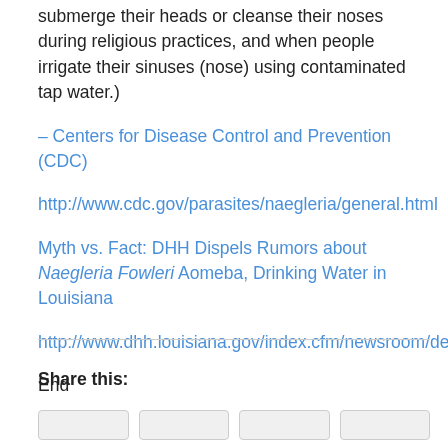submerge their heads or cleanse their noses during religious practices, and when people irrigate their sinuses (nose) using contaminated tap water.)
– Centers for Disease Control and Prevention (CDC)
http://www.cdc.gov/parasites/naegleria/general.html
Myth vs. Fact: DHH Dispels Rumors about Naegleria Fowleri Aomeba, Drinking Water in Louisiana
http://www.dhh.louisiana.gov/index.cfm/newsroom/detail/2870
End
Share this: